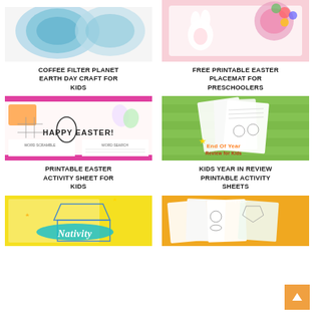[Figure (photo): Coffee Filter Planet Earth Day Craft - blue watercolor circles on white background]
COFFEE FILTER PLANET EARTH DAY CRAFT FOR KIDS
[Figure (photo): Free Printable Easter Placemat for Preschoolers - colorful Easter-themed placemat with eggs]
FREE PRINTABLE EASTER PLACEMAT FOR PRESCHOOLERS
[Figure (photo): Printable Easter Activity Sheet for Kids - Happy Easter word scramble and word search page]
PRINTABLE EASTER ACTIVITY SHEET FOR KIDS
[Figure (photo): Kids Year in Review Printable Activity Sheets - End of Year Review for Kids booklet on green striped background]
KIDS YEAR IN REVIEW PRINTABLE ACTIVITY SHEETS
[Figure (photo): Nativity color by number pages - colorful nativity scene with Nativity text in teal]
[Figure (photo): Coloring pages booklet with nativity/Christmas themed coloring sheets]